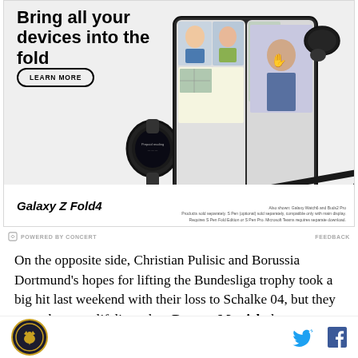[Figure (illustration): Samsung Galaxy Z Fold4 advertisement showing 'Bring all your devices into the fold' headline with Learn More button, images of Galaxy Z Fold4 phone open with video call, Galaxy Watch, Galaxy Buds2 Pro, and S Pen on gray background.]
POWERED BY CONCERT   FEEDBACK
On the opposite side, Christian Pulisic and Borussia Dortmund's hopes for lifting the Bundesliga trophy took a big hit last weekend with their loss to Schalke 04, but they were thrown a lifeline when Bayern Munich drew